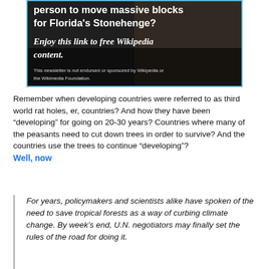[Figure (photo): Advertisement banner with dark rocky background showing text about Florida's Stonehenge and Wikipedia. Text reads: 'person to move massive blocks for Florida's Stonehenge? Enjoy this link to free Wikipedia content. This newsletter is not endorsed or sponsored by Wikipedia or the Wikimedia Foundation.']
Remember when developing countries were referred to as third world rat holes, er, countries? And how they have been “developing” for going on 20-30 years? Countries where many of the peasants need to cut down trees in order to survive? And the countries use the trees to continue “developing”?
Well, now
For years, policymakers and scientists alike have spoken of the need to save tropical forests as a way of curbing climate change. By week’s end, U.N. negotiators may finally set the rules of the road for doing it.
Well, really, they talk about curbing almost everything but their own lifestyles.